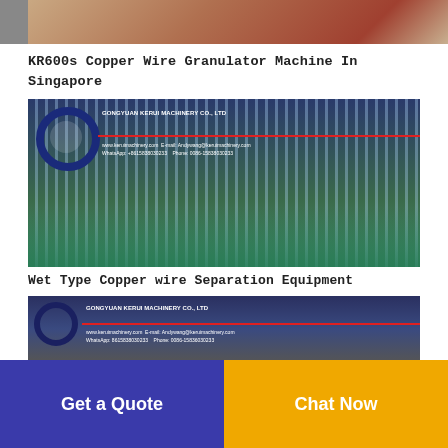[Figure (photo): Top portion of KR600s Copper Wire Granulator Machine, showing rusty/orange textured surface with gray machinery part on left edge.]
KR600s Copper Wire Granulator Machine In Singapore
[Figure (photo): Wet Type Copper Wire Separation Equipment showing water streams falling into green-tinted water basin, with GONGYUAN KERUI MACHINERY CO., LTD logo and contact details overlay.]
Wet Type Copper wire Separation Equipment
[Figure (photo): Partial view of another copper wire machine with GONGYUAN KERUI MACHINERY CO., LTD logo and contact information overlay, image cut off at bottom.]
Get a Quote
Chat Now